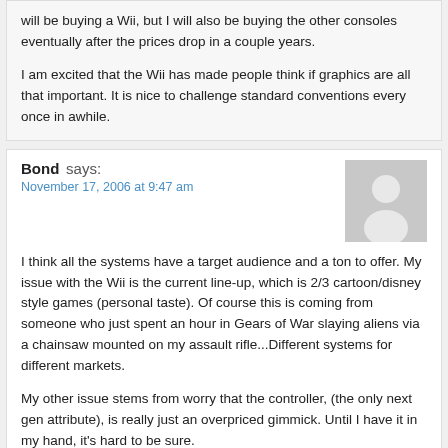will be buying a Wii, but I will also be buying the other consoles eventually after the prices drop in a couple years.

I am excited that the Wii has made people think if graphics are all that important. It is nice to challenge standard conventions every once in awhile.
Bond says:
November 17, 2006 at 9:47 am

I think all the systems have a target audience and a ton to offer. My issue with the Wii is the current line-up, which is 2/3 cartoon/disney style games (personal taste). Of course this is coming from someone who just spent an hour in Gears of War slaying aliens via a chainsaw mounted on my assault rifle...Different systems for different markets.

My other issue stems from worry that the controller, (the only next gen attribute), is really just an overpriced gimmick. Until I have it in my hand, it's hard to be sure.